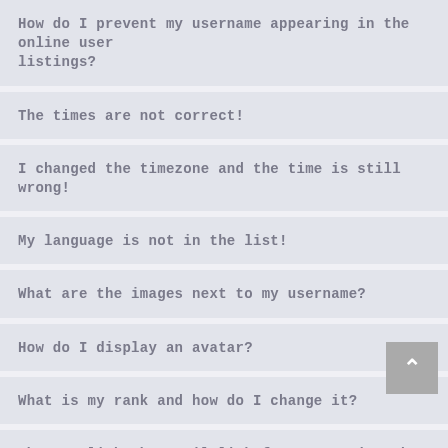How do I prevent my username appearing in the online user listings?
The times are not correct!
I changed the timezone and the time is still wrong!
My language is not in the list!
What are the images next to my username?
How do I display an avatar?
What is my rank and how do I change it?
When I click the email link for a user it asks me to login?
POSTING ISSUES
How do I create a new topic or post a reply?